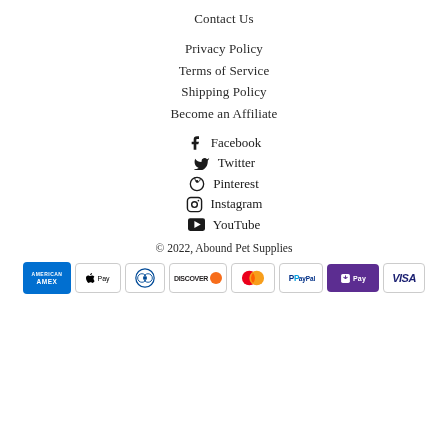Contact Us
Privacy Policy
Terms of Service
Shipping Policy
Become an Affiliate
Facebook
Twitter
Pinterest
Instagram
YouTube
© 2022, Abound Pet Supplies
[Figure (other): Payment method icons: American Express, Apple Pay, Diners Club, Discover, Mastercard, PayPal, Shop Pay, Visa]